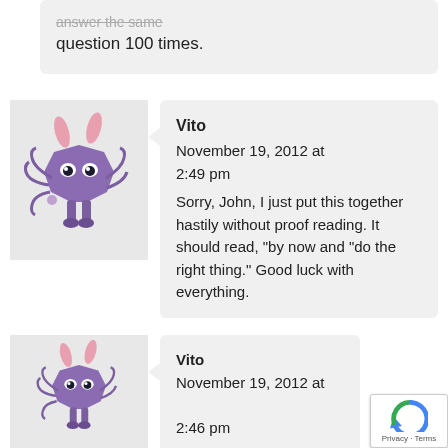question 100 times.
[Figure (illustration): Purple cartoon monster avatar with pink rabbit ears, tentacle-like arms, and small legs]
Vito
November 19, 2012 at 2:49 pm
Sorry, John, I just put this together hastily without proof reading. It should read, "by now and "do the right thing." Good luck with everything.
[Figure (illustration): Purple cartoon monster avatar with pink rabbit ears, tentacle-like arms, and small legs]
Vito
November 19, 2012 at 2:46 pm